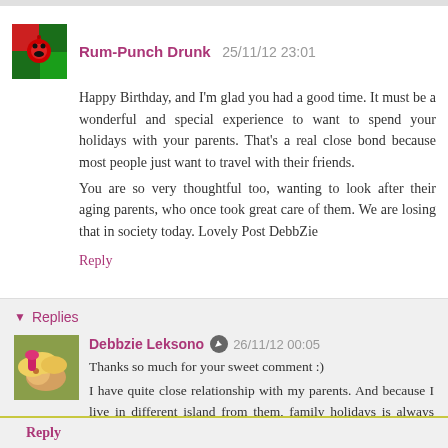Rum-Punch Drunk  25/11/12 23:01
Happy Birthday, and I'm glad you had a good time. It must be a wonderful and special experience to want to spend your holidays with your parents. That's a real close bond because most people just want to travel with their friends.
You are so very thoughtful too, wanting to look after their aging parents, who once took great care of them. We are losing that in society today. Lovely Post DebbZie
Reply
Replies
Debbzie Leksono  26/11/12 00:05
Thanks so much for your sweet comment :)
I have quite close relationship with my parents. And because I live in different island from them, family holidays is always something I look forward to.
Reply